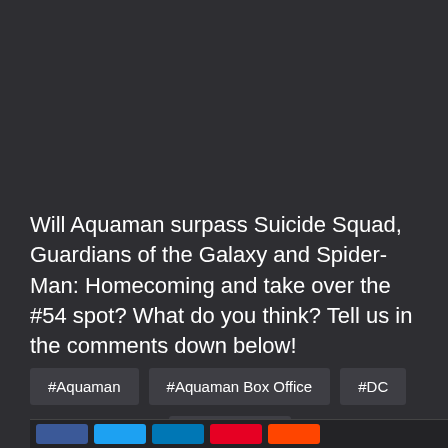Will Aquaman surpass Suicide Squad, Guardians of the Galaxy and Spider-Man: Homecoming and take over the #54 spot? What do you think? Tell us in the comments down below!
#Aquaman
#Aquaman Box Office
#DC
#Deadpool 2